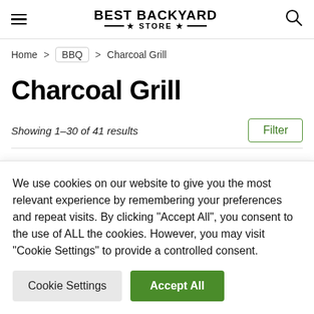BEST BACKYARD STORE
Home > BBQ > Charcoal Grill
Charcoal Grill
Showing 1-30 of 41 results
We use cookies on our website to give you the most relevant experience by remembering your preferences and repeat visits. By clicking "Accept All", you consent to the use of ALL the cookies. However, you may visit "Cookie Settings" to provide a controlled consent.